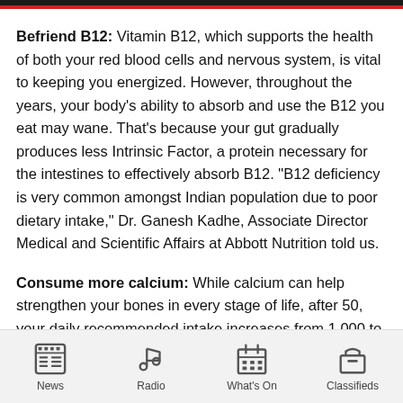Befriend B12: Vitamin B12, which supports the health of both your red blood cells and nervous system, is vital to keeping you energized. However, throughout the years, your body's ability to absorb and use the B12 you eat may wane. That's because your gut gradually produces less Intrinsic Factor, a protein necessary for the intestines to effectively absorb B12. "B12 deficiency is very common amongst Indian population due to poor dietary intake," Dr. Ganesh Kadhe, Associate Director Medical and Scientific Affairs at Abbott Nutrition told us.
Consume more calcium: While calcium can help strengthen your bones in every stage of life, after 50, your daily recommended intake increases from 1,000 to 1,200 mg per day. It's important to talk to your doctor to evaluate your bone density, family history and calcium intake to prevent osteoporosis or to help slow the
News  Radio  What's On  Classifieds